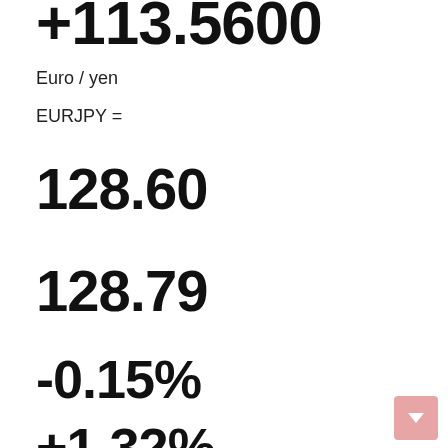+113.5600
Euro / yen
EURJPY =
128.60
128.79
-0.15%
+1.32%